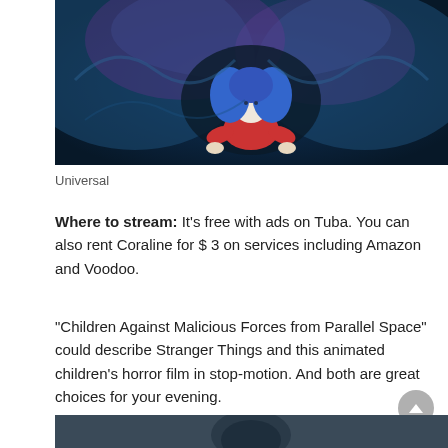[Figure (photo): Animated character from Coraline film — a girl with blue hair and red jacket surrounded by swirling blue and purple forms]
Universal
Where to stream: It's free with ads on Tuba. You can also rent Coraline for $ 3 on services including Amazon and Voodoo.
“Children Against Malicious Forces from Parallel Space” could describe Stranger Things and this animated children’s horror film in stop-motion. And both are great choices for your evening.
[Figure (photo): Bottom portion of another image, dark tones, person visible]